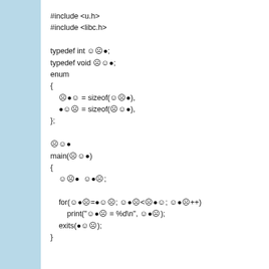#include <u.h>
#include <libc.h>

typedef int ☺☹●;
typedef void ☹☺●;
enum
{
    ☹●☺ = sizeof(☺☹●),
    ●☺☹ = sizeof(☹☺●),
};

☹☺●
main(☹☺●)
{
    ☺☹●  ☺●☹;

    for(☺●☹=●☺☹; ☺●☹<☹●☺; ☺●☹++)
        print("☺●☹ = %d\n", ☺●☹);
    exits(●☺☹);
}